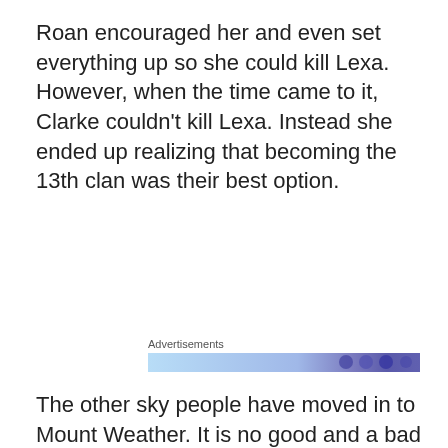Roan encouraged her and even set everything up so she could kill Lexa. However, when the time came to it, Clarke couldn't kill Lexa. Instead she ended up realizing that becoming the 13th clan was their best option.
[Figure (other): Advertisements banner with blue and purple gradient image strip]
The other sky people have moved in to Mount Weather. It is no good and a bad look for them to be just doing this without having discussed things properly with the
Privacy & Cookies: This site uses cookies. By continuing to use this website, you agree to their use.
To find out more, including how to control cookies, see here: Cookie Policy
no matter how many times he's been told that they have